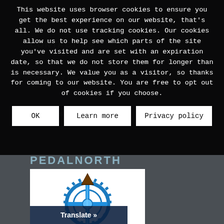This website uses browser cookies to ensure you get the best experience on our website, that's all. We do not use tracking cookies. Our cookies allow us to help see which parts of the site you've visited and are set with an expiration date, so that we do not store them for longer than is necessary. We value you as a visitor, so thanks for coming to our website. You are free to opt out of cookies if you choose.
OK | Learn more | Privacy policy
PEDALNORTH
[Figure (logo): PedalNorth logo: a blue bicycle chainring gear with a blue vertical element in the center and a brown/dark arrowhead shape at the top, on a white background.]
Translate »